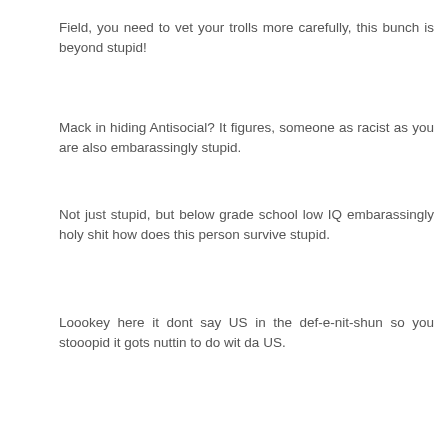Field, you need to vet your trolls more carefully, this bunch is beyond stupid!
Mack in hiding Antisocial? It figures, someone as racist as you are also embarassingly stupid.
Not just stupid, but below grade school low IQ embarassingly holy shit how does this person survive stupid.
Loookey here it dont say US in the def-e-nit-shun so you stooopid it gots nuttin to do wit da US.
Well to know what antisocial means you have to understand what social is, hoping you know that anti means the antithesis of the describing word.
Social: Of or relating to human society and its modes of organization.
One such mode of society and a mode of organization is the United States Of America, with Americans, and